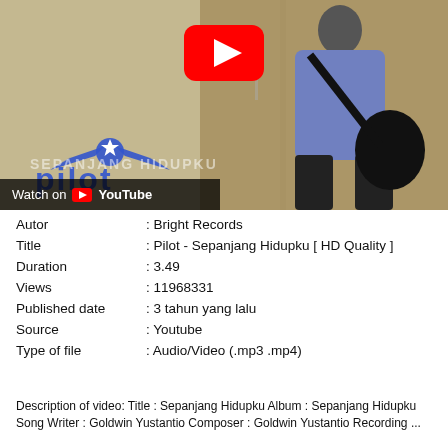[Figure (screenshot): YouTube video thumbnail showing a person carrying a bag in a corridor, with Pilot band logo overlay, YouTube play button, and 'Watch on YouTube' bar at bottom]
| Autor | : Bright Records |
| Title | : Pilot - Sepanjang Hidupku [ HD Quality ] |
| Duration | : 3.49 |
| Views | : 11968331 |
| Published date | : 3 tahun yang lalu |
| Source | : Youtube |
| Type of file | : Audio/Video (.mp3 .mp4) |
Description of video: Title : Sepanjang Hidupku Album : Sepanjang Hidupku Song Writer : Goldwin Yustantio Composer : Goldwin Yustantio Recording ...